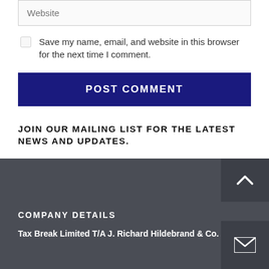Website
Save my name, email, and website in this browser for the next time I comment.
POST COMMENT
JOIN OUR MAILING LIST FOR THE LATEST NEWS AND UPDATES.
COMPANY DETAILS
Tax Break Limited T/A J. Richard Hildebrand & Co.